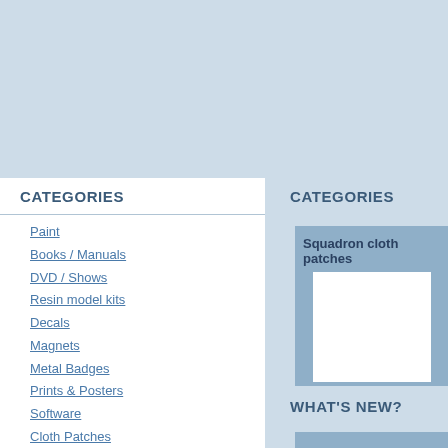CATEGORIES
Paint
Books / Manuals
DVD / Shows
Resin model kits
Decals
Magnets
Metal Badges
Prints & Posters
Software
Cloth Patches
Squadron cloth patches
Other cloth patches
Clocks
Other
CATEGORIES
Squadron cloth patches
[Figure (photo): White product image placeholder]
WHAT'S NEW?